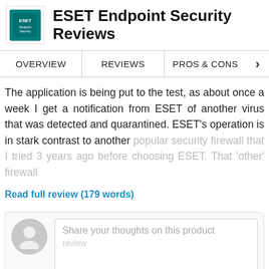ESET Endpoint Security Reviews
OVERVIEW | REVIEWS | PROS & CONS
The application is being put to the test, as about once a week I get a notification from ESET of another virus that was detected and quarantined. ESET's operation is in stark contrast to another popular security firewall that I tried 3 years ago before choosing ESET. That 'other' firewall
Read full review (179 words)
Share your thoughts on this product review